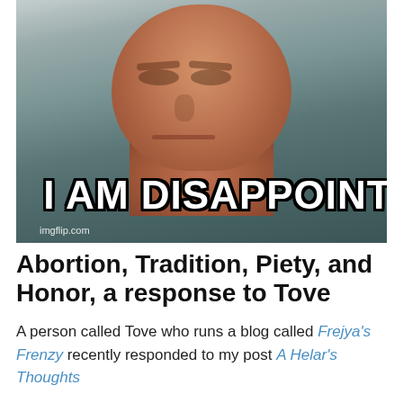[Figure (photo): Mugshot-style photo of a large-necked man with a stern expression, with meme text 'I AM DISAPPOINT' overlaid at the bottom in white Impact font with black outline. Watermark 'imgflip.com' visible at bottom left.]
Abortion, Tradition, Piety, and Honor, a response to Tove
A person called Tove who runs a blog called Frejya's Frenzy recently responded to my post A Helar's Thoughts